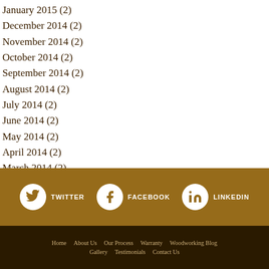January 2015 (2)
December 2014 (2)
November 2014 (2)
October 2014 (2)
September 2014 (2)
August 2014 (2)
July 2014 (2)
June 2014 (2)
May 2014 (2)
April 2014 (2)
March 2014 (2)
TWITTER  FACEBOOK  LINKEDIN
Home   About Us   Our Process   Warranty   Woodworking Blog